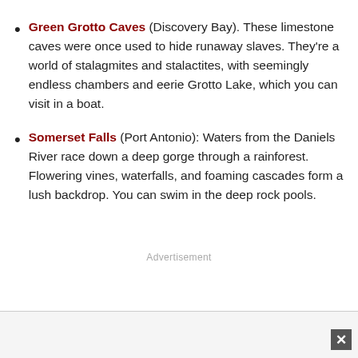Green Grotto Caves (Discovery Bay). These limestone caves were once used to hide runaway slaves. They're a world of stalagmites and stalactites, with seemingly endless chambers and eerie Grotto Lake, which you can visit in a boat.
Somerset Falls (Port Antonio): Waters from the Daniels River race down a deep gorge through a rainforest. Flowering vines, waterfalls, and foaming cascades form a lush backdrop. You can swim in the deep rock pools.
Advertisement